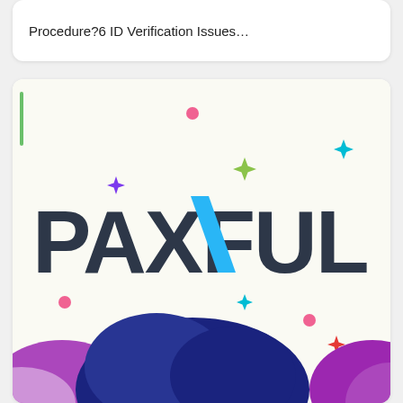Procedure?6 ID Verification Issues…
[Figure (logo): Paxful logo with colorful sparkle decorations and abstract cloud shapes at the bottom on a light cream background]